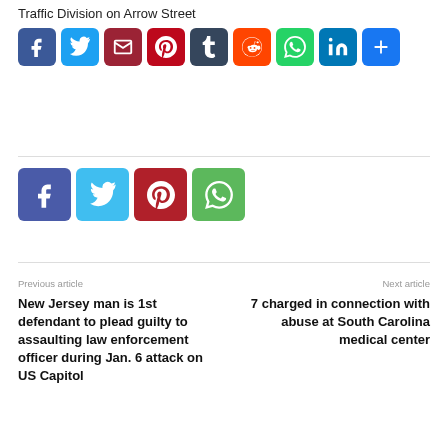Traffic Division on Arrow Street
[Figure (infographic): Social share buttons row: Facebook (blue), Twitter (light blue), Email (dark red), Pinterest (red), Tumblr (dark gray), Reddit (orange), WhatsApp (green), LinkedIn (teal), More/Plus (blue)]
[Figure (infographic): Social share buttons row (smaller): Facebook (indigo), Twitter (cyan), Pinterest (red), WhatsApp (green)]
Previous article
Next article
New Jersey man is 1st defendant to plead guilty to assaulting law enforcement officer during Jan. 6 attack on US Capitol
7 charged in connection with abuse at South Carolina medical center